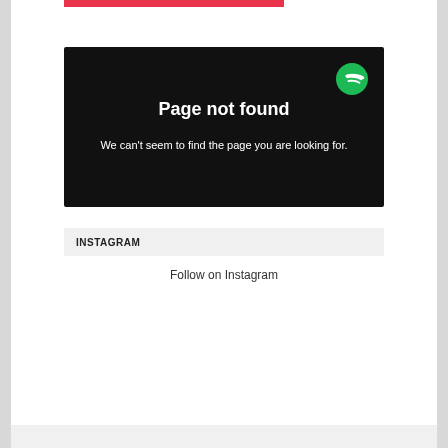[Figure (screenshot): Spotify 'Page not found' error page embedded as a screenshot. Dark background with Spotify green logo in top-right, bold white 'Page not found' heading, and white subtitle text 'We can't seem to find the page you are looking for.']
INSTAGRAM
Follow on Instagram